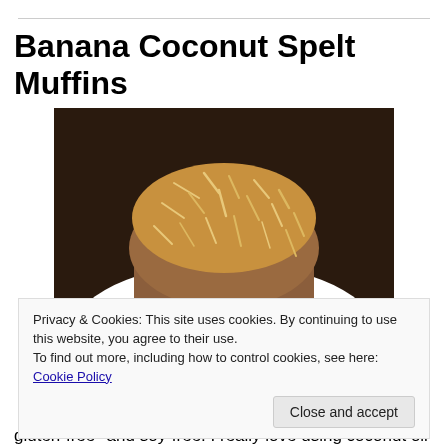Banana Coconut Spelt Muffins
[Figure (photo): A coconut-topped banana spelt muffin on a white decorative plate with brown leaf/petal pattern, photographed from a slight angle showing the muffin's golden coconut topping and dense texture.]
Privacy & Cookies: This site uses cookies. By continuing to use this website, you agree to their use.
To find out more, including how to control cookies, see here: Cookie Policy
Close and accept
gluten-free* and soy-free. I really love using coconut oil